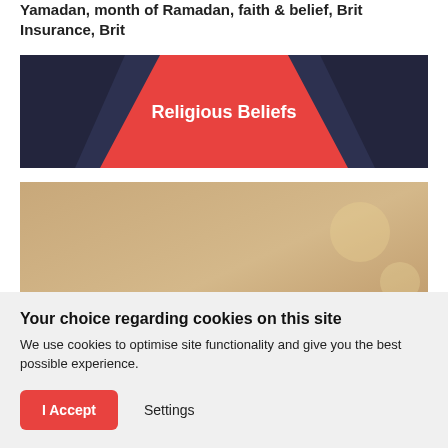Yamadan, month of Ramadan, faith & belief, Brit Insurance, Brit
[Figure (illustration): Religious Beliefs banner graphic with dark navy triangular shapes on left and right and a red/coral center area with white bold text reading 'Religious Beliefs']
[Figure (photo): Partial photo showing the top of a person's head wearing a hijab against a blurred warm-toned background]
Your choice regarding cookies on this site
We use cookies to optimise site functionality and give you the best possible experience.
I Accept   Settings